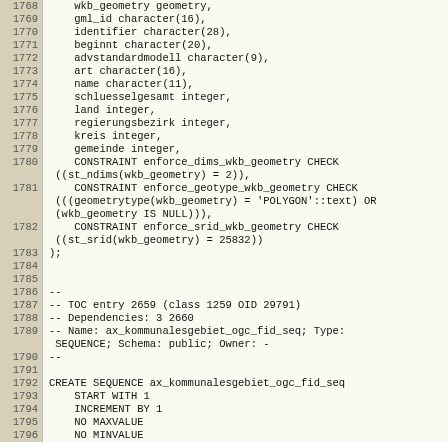Code listing lines 1768-1796, SQL/database schema definition